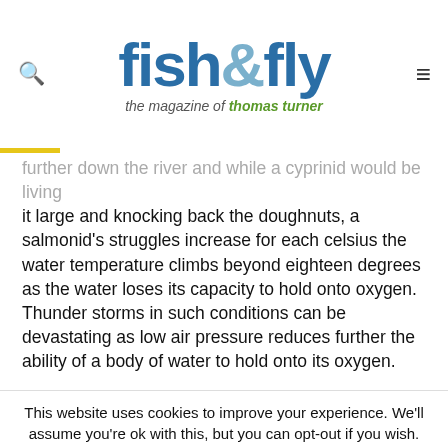fish&fly the magazine of thomas turner
...further down the river and while a cyprinid would be living it large and knocking back the doughnuts, a salmonid's struggles increase for each celsius the water temperature climbs beyond eighteen degrees as the water loses its capacity to hold onto oxygen. Thunder storms in such conditions can be devastating as low air pressure reduces further the ability of a body of water to hold onto its oxygen.
This website uses cookies to improve your experience. We'll assume you're ok with this, but you can opt-out if you wish.
Accept
Reject
Read More